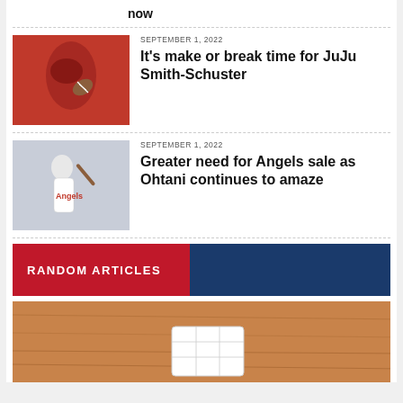now
SEPTEMBER 1, 2022
It's make or break time for JuJu Smith-Schuster
SEPTEMBER 1, 2022
Greater need for Angels sale as Ohtani continues to amaze
RANDOM ARTICLES
[Figure (photo): Baseball base plate on dirt infield ground, viewed from above]